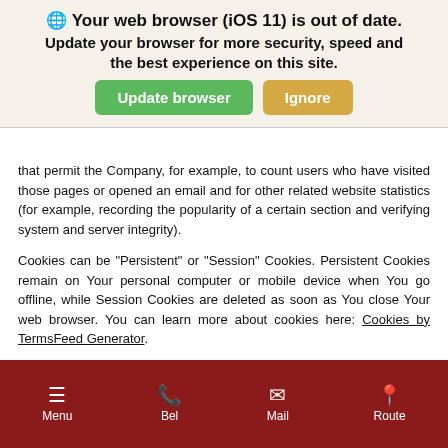Your web browser (iOS 11) is out of date. Update your browser for more security, speed and the best experience on this site. [Update browser] [Ignore]
that permit the Company, for example, to count users who have visited those pages or opened an email and for other related website statistics (for example, recording the popularity of a certain section and verifying system and server integrity).
Cookies can be "Persistent" or "Session" Cookies. Persistent Cookies remain on Your personal computer or mobile device when You go offline, while Session Cookies are deleted as soon as You close Your web browser. You can learn more about cookies here: Cookies by TermsFeed Generator.
We use both Session and Persistent Cookies for the purposes set out below:
Necessary / Essential Cookies
Menu   Bel   Mail   Route